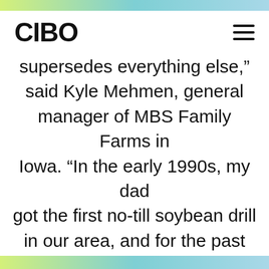CIBO
supersedes everything else,” said Kyle Mehmen, general manager of MBS Family Farms in Iowa. “In the early 1990s, my dad got the first no-till soybean drill in our area, and for the past decade we’ve been experimenting and testing a variety of cover crops. In terms of carbon markets, what a lot of farmers don’t have is the time